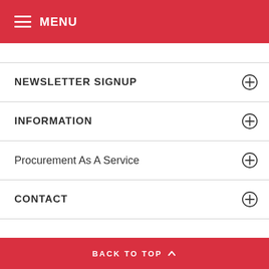MENU
NEWSLETTER SIGNUP
INFORMATION
Procurement As A Service
CONTACT
O2Store © 2019. All Rights Reserved.
BACK TO TOP